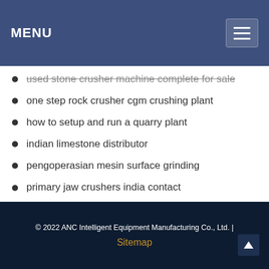MENU
used stone crusher machine complete for sale
one step rock crusher cgm crushing plant
how to setup and run a quarry plant
indian limestone distributor
pengoperasian mesin surface grinding
primary jaw crushers india contact
coal processing plant supplier
© 2022 ANC Intelligent Equipment Manufacturing Co., Ltd. | Sitemap